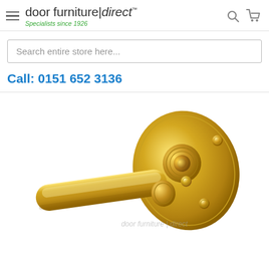door furniture|direct™ — Specialists since 1926
Search entire store here...
Call: 0151 652 3136
[Figure (photo): A polished brass door lever handle on a round rose/backplate, shown at an angle on a white background. The handle features a classic rounded lever shape with decorative concentric circles on the rose. Watermark reads 'door furniture direct' in grey italic text.]